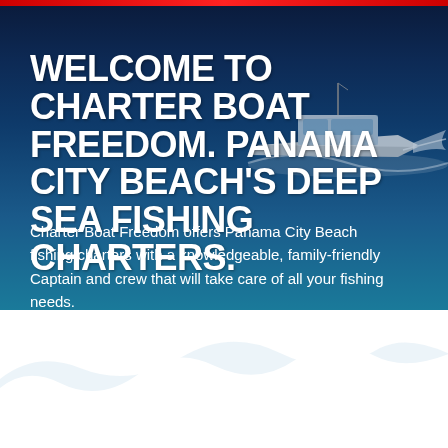WELCOME TO CHARTER BOAT FREEDOM. PANAMA CITY BEACH'S DEEP SEA FISHING CHARTERS.
Charter Boat Freedom offers Panama City Beach fishing charters with a knowledgeable, family-friendly Captain and crew that will take care of all your fishing needs.
[Figure (photo): Background photo of ocean water with a charter boat speeding through the water, white wake visible. White wave silhouette decorative element at the bottom of the ocean section.]